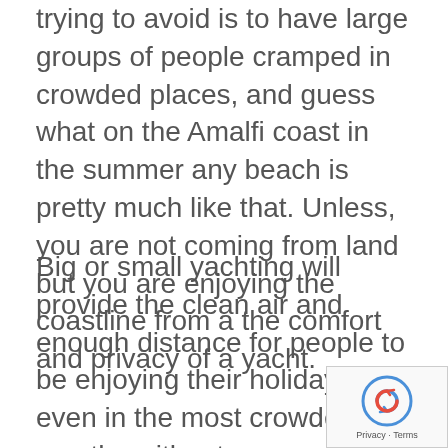trying to avoid is to have large groups of people cramped in crowded places, and guess what on the Amalfi coast in the summer any beach is pretty much like that. Unless, you are not coming from land but you are enjoying the coastline from a the comfort and privacy of a yacht.
Big or small yachting will provide the clean air and enough distance for people to be enjoying their holidays even in the most crowded months without ever needing to be going through crowded places. If you are coming from the UK you can very well drive your own car and get on a charter yacht anywhere you like well avoiding